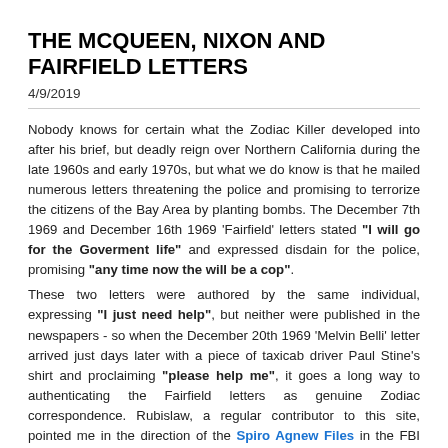THE MCQUEEN, NIXON AND FAIRFIELD LETTERS
4/9/2019
Nobody knows for certain what the Zodiac Killer developed into after his brief, but deadly reign over Northern California during the late 1960s and early 1970s, but what we do know is that he mailed numerous letters threatening the police and promising to terrorize the citizens of the Bay Area by planting bombs. The December 7th 1969 and December 16th 1969 'Fairfield' letters stated "I will go for the Goverment life" and expressed disdain for the police, promising "any time now the will be a cop".
These two letters were authored by the same individual, expressing "I just need help", but neither were published in the newspapers - so when the December 20th 1969 'Melvin Belli' letter arrived just days later with a piece of taxicab driver Paul Stine's shirt and proclaiming "please help me", it goes a long way to authenticating the Fairfield letters as genuine Zodiac correspondence. Rubislaw, a regular contributor to this site, pointed me in the direction of the Spiro Agnew Files in the FBI archives, regarding threats (including bomb threats)